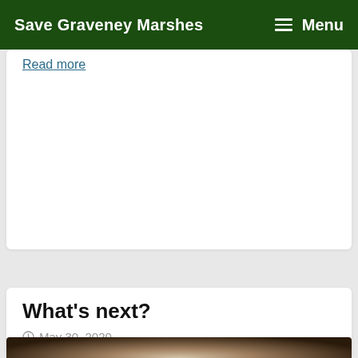Save Graveney Marshes  Menu
Read more
What's next?
May 30, 2020
[Figure (photo): Partial photo at bottom of page, appears to show rope or woven material with warm brown tones]